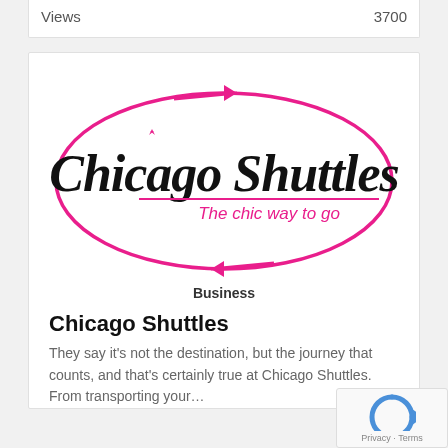| Views | 3700 |
| --- | --- |
[Figure (logo): Chicago Shuttles logo: an oval/ellipse in hot pink with two arrows (one pointing right at top, one pointing left at bottom), containing the cursive text 'Chicago Shuttles' in black and the tagline 'The chic way to go' in pink beneath a pink underline.]
Business
Chicago Shuttles
They say it's not the destination, but the journey that counts, and that's certainly true at Chicago Shuttles. From transporting your…